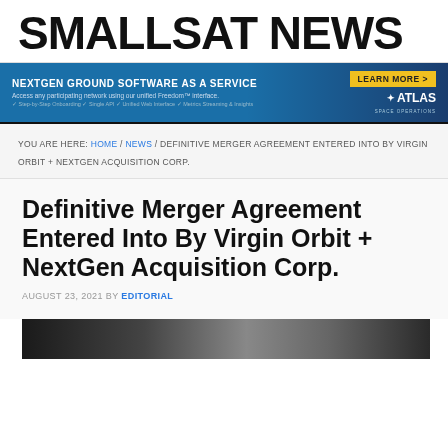SMALLSAT NEWS
[Figure (infographic): Advertisement banner: NEXTGEN GROUND SOFTWARE AS A SERVICE - LEARN MORE > ATLAS SPACE OPERATIONS]
YOU ARE HERE: HOME / NEWS / DEFINITIVE MERGER AGREEMENT ENTERED INTO BY VIRGIN ORBIT + NEXTGEN ACQUISITION CORP.
Definitive Merger Agreement Entered Into By Virgin Orbit + NextGen Acquisition Corp.
AUGUST 23, 2021 BY EDITORIAL
[Figure (photo): Thumbnail image strip at the bottom of the article header area]